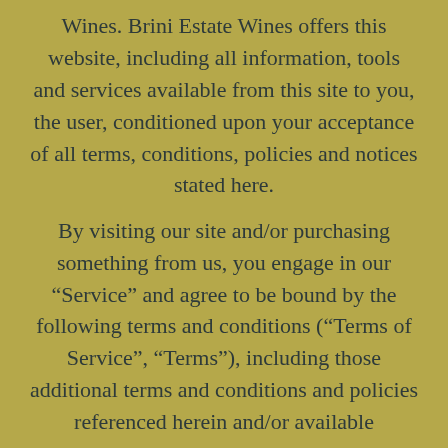Wines. Brini Estate Wines offers this website, including all information, tools and services available from this site to you, the user, conditioned upon your acceptance of all terms, conditions, policies and notices stated here.
By visiting our site and/or purchasing something from us, you engage in our “Service” and agree to be bound by the following terms and conditions (“Terms of Service”, “Terms”), including those additional terms and conditions and policies referenced herein and/or available